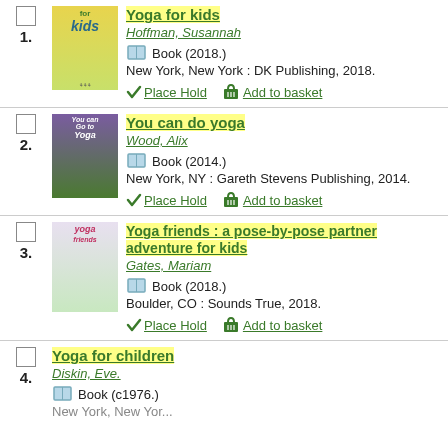1. Yoga for kids — Hoffman, Susannah — Book (2018.) — New York, New York : DK Publishing, 2018.
2. You can do yoga — Wood, Alix — Book (2014.) — New York, NY : Gareth Stevens Publishing, 2014.
3. Yoga friends : a pose-by-pose partner adventure for kids — Gates, Mariam — Book (2018.) — Boulder, CO : Sounds True, 2018.
4. Yoga for children — Diskin, Eve. — Book (c1976.)